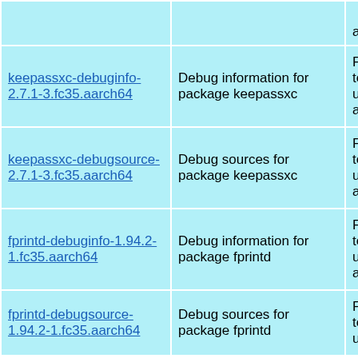| Package | Description | Repository |
| --- | --- | --- |
|  |  | aarch64 |
| keepassxc-debuginfo-2.7.1-3.fc35.aarch64 | Debug information for package keepassxc | Fedora 35 testing updates for aarch64 |
| keepassxc-debugsource-2.7.1-3.fc35.aarch64 | Debug sources for package keepassxc | Fedora 35 testing updates for aarch64 |
| fprintd-debuginfo-1.94.2-1.fc35.aarch64 | Debug information for package fprintd | Fedora 35 testing updates for aarch64 |
| fprintd-debugsource-1.94.2-1.fc35.aarch64 | Debug sources for package fprintd | Fedora 35 testing updates for |